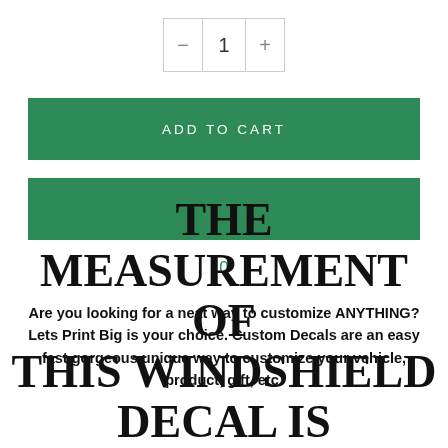[Figure (other): Quantity control widget showing minus button, the number 1, and plus button]
[Figure (other): Green ADD TO CART button]
[Figure (other): Second green button (empty/dynamic)]
0
Are you looking for a neat way to customize ANYTHING? Lets Print Big is your choice. Custom Decals are an easy fast gorgeous unique way to customize your vehicle, product, gift, etc.
THE MEASUREMENT OF THIS WINDSHIELD DECAL IS